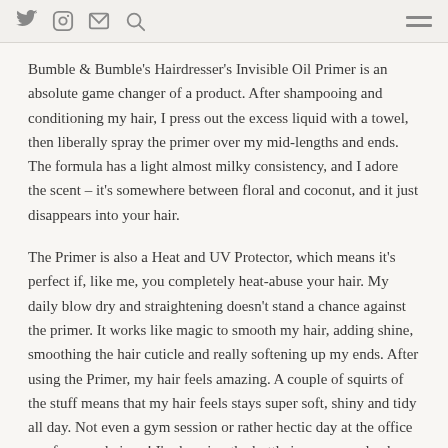Social media icons (Twitter, Instagram, Mail, Search) and hamburger menu
Bumble & Bumble's Hairdresser's Invisible Oil Primer is an absolute game changer of a product. After shampooing and conditioning my hair, I press out the excess liquid with a towel, then liberally spray the primer over my mid-lengths and ends. The formula has a light almost milky consistency, and I adore the scent – it's somewhere between floral and coconut, and it just disappears into your hair.
The Primer is also a Heat and UV Protector, which means it's perfect if, like me, you completely heat-abuse your hair. My daily blow dry and straightening doesn't stand a chance against the primer. It works like magic to smooth my hair, adding shine, smoothing the hair cuticle and really softening up my ends. After using the Primer, my hair feels amazing. A couple of squirts of the stuff means that my hair feels stays super soft, shiny and tidy all day. Not even a gym session or rather hectic day at the office can fuzz my hair up! I'm keeping the bottle in my everyday box for summer too! The UV protection means that no matter if how long I'm out and about in the sun,my hair is protected from damage